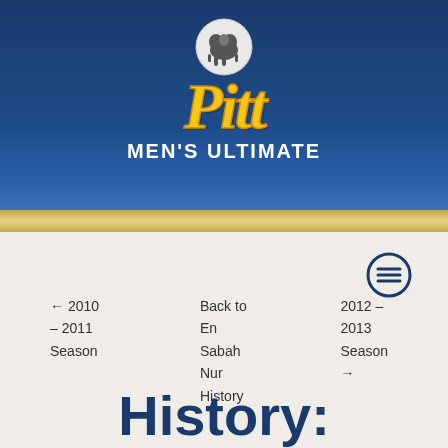[Figure (logo): Pitt Men's Ultimate frisbee team logo with panther icon and stylized Pitt script in gold and blue, with MEN'S ULTIMATE text below]
Back to En Sabah Nur History
← 2010 – 2011 Season
2012 – 2013 Season →
History: